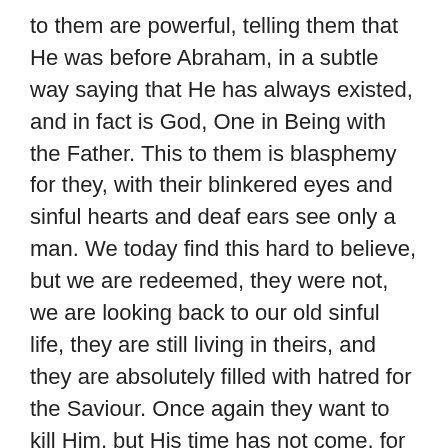to them are powerful, telling them that He was before Abraham, in a subtle way saying that He has always existed, and in fact is God, One in Being with the Father. This to them is blasphemy for they, with their blinkered eyes and sinful hearts and deaf ears see only a man. We today find this hard to believe, but we are redeemed, they were not, we are looking back to our old sinful life, they are still living in theirs, and they are absolutely filled with hatred for the Saviour. Once again they want to kill Him, but His time has not come, for He must be the Passover Lamb, and so, supernaturally He walks right through the midst of them, no one can touch Him. Thank God that you know the Truth and the Truth